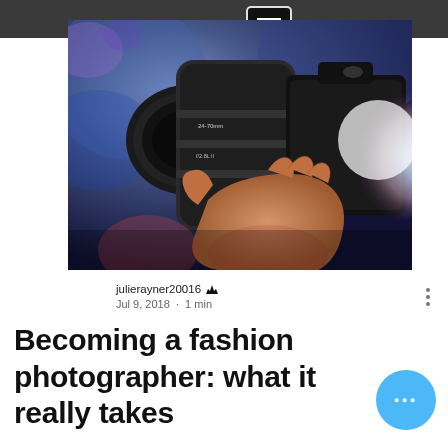[Figure (photo): A hand holding a professional DSLR camera with a large telephoto lens, with colorful bokeh light in the background]
julierayner20016 ♛
Jul 9, 2018 · 1 min
Becoming a fashion photographer: what it really takes